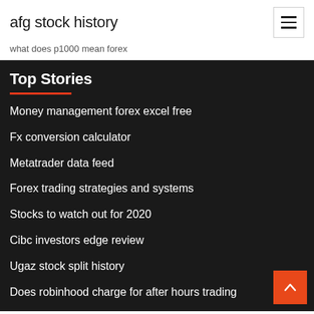afg stock history
what does p1000 mean forex
Top Stories
Money management forex excel free
Fx conversion calculator
Metatrader data feed
Forex trading strategies and systems
Stocks to watch out for 2020
Cibc investors edge review
Ugaz stock split history
Does robinhood charge for after hours trading
Falling gold gif